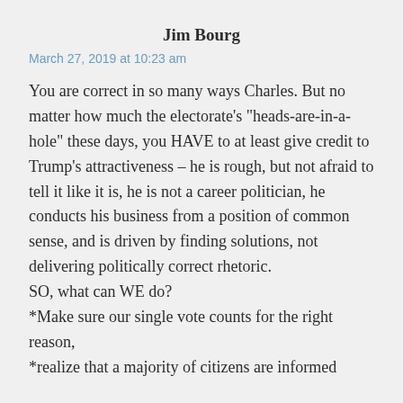Jim Bourg
March 27, 2019 at 10:23 am
You are correct in so many ways Charles. But no matter how much the electorate's "heads-are-in-a-hole" these days, you HAVE to at least give credit to Trump's attractiveness – he is rough, but not afraid to tell it like it is, he is not a career politician, he conducts his business from a position of common sense, and is driven by finding solutions, not delivering politically correct rhetoric.
SO, what can WE do?
*Make sure our single vote counts for the right reason,
*realize that a majority of citizens are informed